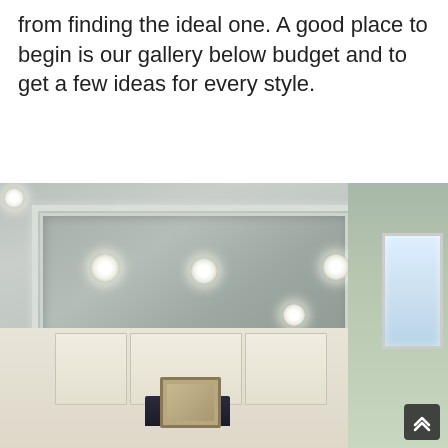from finding the ideal one. A good place to begin is our gallery below budget and to get a few ideas for every style.
[Figure (photo): Interior kitchen photo showing a tray ceiling with multiple recessed can lights arranged in a pattern. White upper cabinets are visible below, along with a range hood. A window is visible on the right side. A scroll-up button appears in the bottom right corner.]